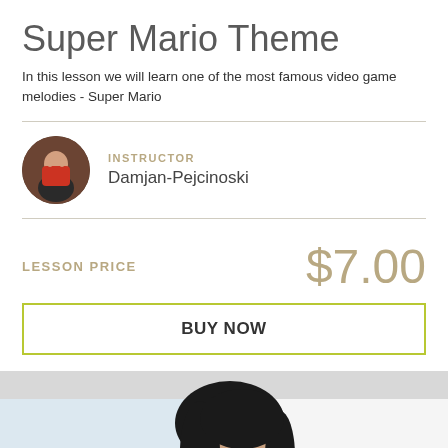Super Mario Theme
In this lesson we will learn one of the most famous video game melodies - Super Mario
INSTRUCTOR
Damjan-Pejcinoski
LESSON PRICE   $7.00
BUY NOW
[Figure (photo): Video thumbnail showing a person with long dark hair and black clothing, head slightly bowed, against a light background]